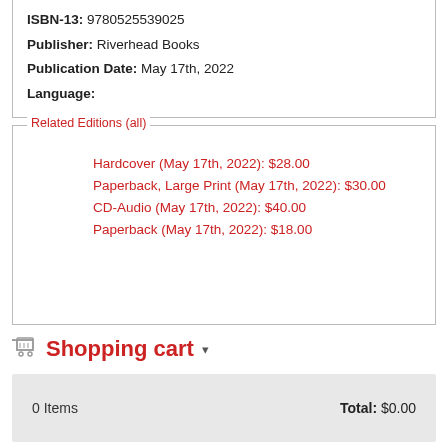ISBN-13: 9780525539025
Publisher: Riverhead Books
Publication Date: May 17th, 2022
Language:
Related Editions (all)
Hardcover (May 17th, 2022): $28.00
Paperback, Large Print (May 17th, 2022): $30.00
CD-Audio (May 17th, 2022): $40.00
Paperback (May 17th, 2022): $18.00
Shopping cart
0 Items                              Total: $0.00